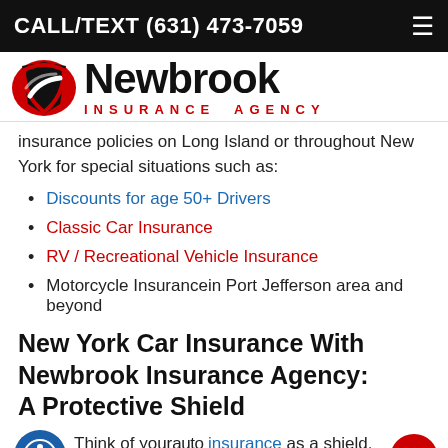CALL/TEXT (631) 473-7059
[Figure (logo): Newbrook Insurance Agency logo with red and black shield/swoosh icon and text]
insurance policies on Long Island or throughout New York for special situations such as:
Discounts for age 50+ Drivers
Classic Car Insurance
RV / Recreational Vehicle Insurance
Motorcycle Insurancein Port Jefferson area and beyond
New York Car Insurance With Newbrook Insurance Agency: A Protective Shield
Think of yourauto insurance as a shield. The shield protects you and your assets in case of